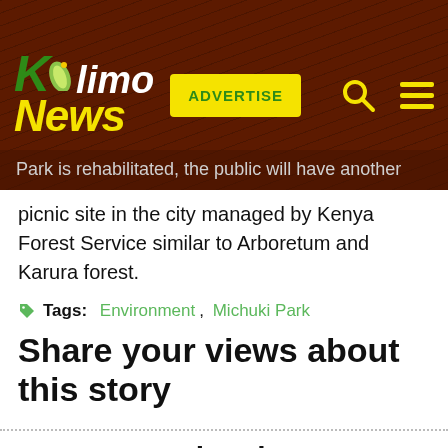Kilimo News | ADVERTISE
Park is rehabilitated, the public will have another picnic site in the city managed by Kenya Forest Service similar to Arboretum and Karura forest.
Tags: Environment, Michuki Park
Share your views about this story
Related...